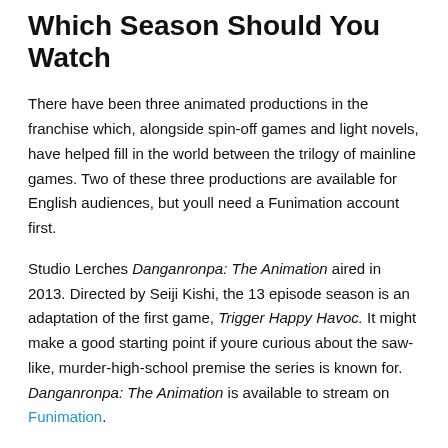Which Season Should You Watch
There have been three animated productions in the franchise which, alongside spin-off games and light novels, have helped fill in the world between the trilogy of mainline games. Two of these three productions are available for English audiences, but youll need a Funimation account first.
Studio Lerches Danganronpa: The Animation aired in 2013. Directed by Seiji Kishi, the 13 episode season is an adaptation of the first game, Trigger Happy Havoc. It might make a good starting point if youre curious about the saw-like, murder-high-school premise the series is known for. Danganronpa: The Animation is available to stream on Funimation.
Danganronpa 3: The End of Hopes Peak High School was produced and...